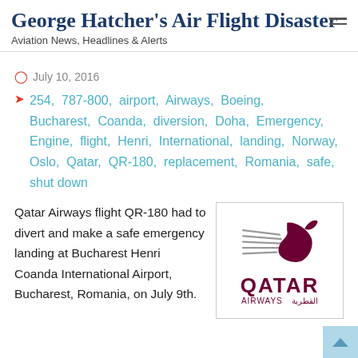George Hatcher's Air Flight Disaster
Aviation News, Headlines & Alerts
July 10, 2016
254, 787-800, airport, Airways, Boeing, Bucharest, Coanda, diversion, Doha, Emergency, Engine, flight, Henri, International, landing, Norway, Oslo, Qatar, QR-180, replacement, Romania, safe, shut down
Qatar Airways flight QR-180 had to divert and make a safe emergency landing at Bucharest Henri Coanda International Airport, Bucharest, Romania, on July 9th.
[Figure (logo): Qatar Airways logo with stylized oryx bird and text QATAR AIRWAYS in dark maroon/burgundy color]